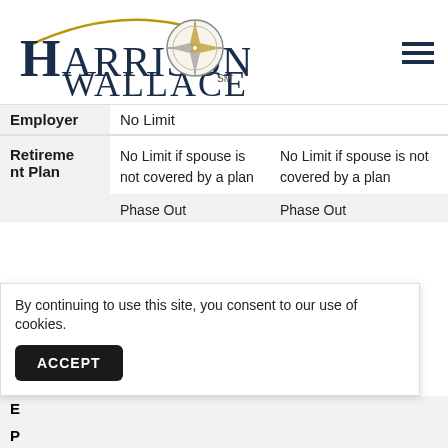[Figure (logo): Harrison Wallace company logo with compass rose]
| Type | Col1 | Col2 |
| --- | --- | --- |
| Employer | No Limit |  |
| Retirement Plan | No Limit if spouse is not covered by a plan | No Limit if spouse is not covered by a plan |
|  | Phase Out | Phase Out |
By continuing to use this site, you consent to our use of cookies.
ACCEPT